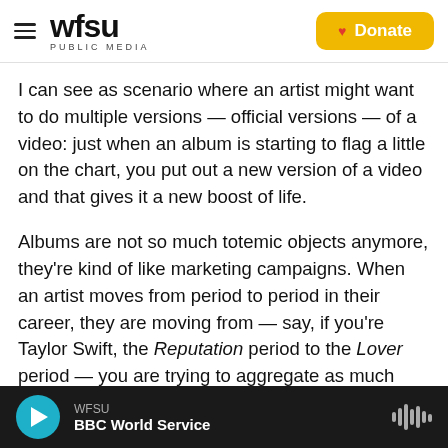WFSU PUBLIC MEDIA | Donate
I can see as scenario where an artist might want to do multiple versions — official versions — of a video: just when an album is starting to flag a little on the chart, you put out a new version of a video and that gives it a new boost of life.
Albums are not so much totemic objects anymore, they're kind of like marketing campaigns. When an artist moves from period to period in their career, they are moving from — say, if you're Taylor Swift, the Reputation period to the Lover period — you are trying to aggregate as much attention for that project while it's your current album project
WFSU | BBC World Service